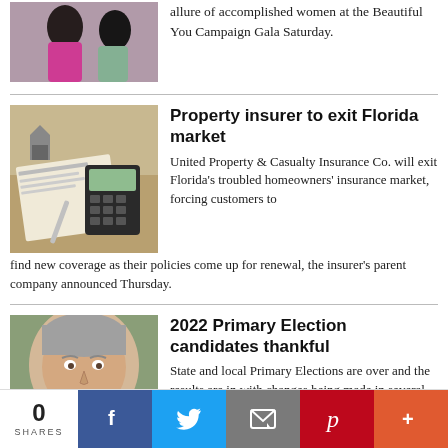[Figure (photo): Two women in evening gowns, one in pink and one in light blue/green, at a gala event]
allure of accomplished women at the Beautiful You Campaign Gala Saturday.
[Figure (photo): Insurance documents, a calculator, and a pen on a desk, with a small house figurine]
Property insurer to exit Florida market
United Property & Casualty Insurance Co. will exit Florida's troubled homeowners' insurance market, forcing customers to find new coverage as their policies come up for renewal, the insurer's parent company announced Thursday.
[Figure (photo): Smiling middle-aged man with gray hair wearing an orange/salmon shirt, outdoors]
2022 Primary Election candidates thankful
State and local Primary Elections are over and the results are in with changes being made in several races. State Senator District 2 candidate Jay Trumbull took the win over challenger Regina …
0 SHARES | Facebook | Twitter | Email | Pinterest | More